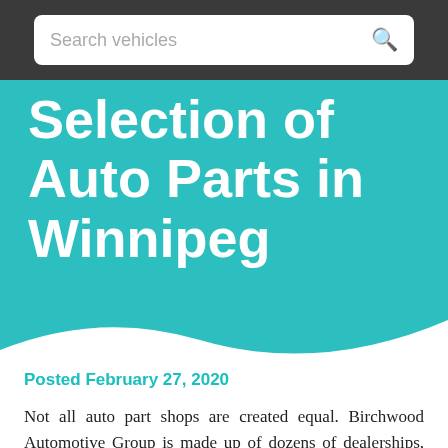Search vehicles
Selection of Auto Parts in Winnipeg
Posted February 27, 2020
Not all auto part shops are created equal. Birchwood Automotive Group is made up of dozens of dealerships, repair shops and tire and auto part departments across Winnipeg and boasts the best reputation for quality and efficiency in the city. We have our hands in all aspects of the vehicle-buying